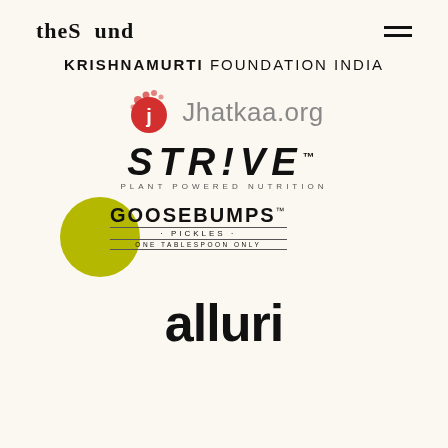theSound [hamburger menu]
[Figure (logo): KRISHNAMURTI FOUNDATION INDIA logo text]
[Figure (logo): Jhatkaa.org logo with red circular icon with letter j]
[Figure (logo): STRIVE PLANT POWERED NUTRITION logo]
[Figure (logo): GOOSEBUMPS PICKLES ONE TABLESPOON ONLY logo with olive green circle]
[Figure (logo): alluri logo in bold black text]